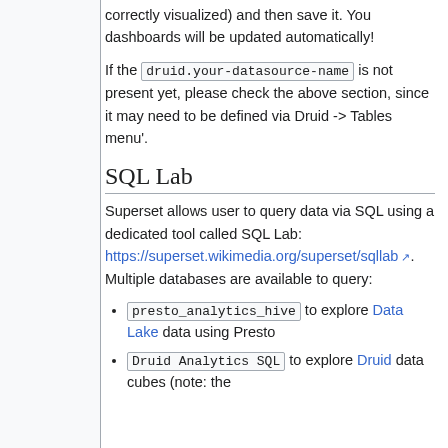correctly visualized) and then save it. You dashboards will be updated automatically!
If the druid.your-datasource-name is not present yet, please check the above section, since it may need to be defined via Druid -> Tables menu'.
SQL Lab
Superset allows user to query data via SQL using a dedicated tool called SQL Lab: https://superset.wikimedia.org/superset/sqllab. Multiple databases are available to query:
presto_analytics_hive to explore Data Lake data using Presto
Druid Analytics SQL to explore Druid data cubes (note: the